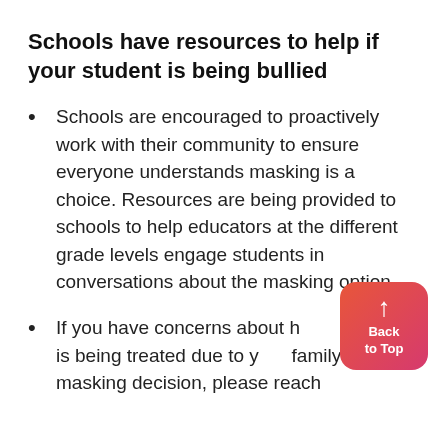Schools have resources to help if your student is being bullied
Schools are encouraged to proactively work with their community to ensure everyone understands masking is a choice. Resources are being provided to schools to help educators at the different grade levels engage students in conversations about the masking option.
If you have concerns about how your child is being treated due to your family's masking decision, please reach